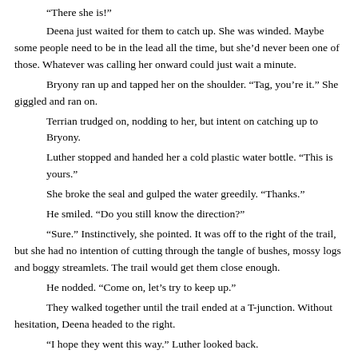“There she is!”
Deena just waited for them to catch up. She was winded. Maybe some people need to be in the lead all the time, but she’d never been one of those. Whatever was calling her onward could just wait a minute.
Bryony ran up and tapped her on the shoulder. “Tag, you’re it.” She giggled and ran on.
Terrian trudged on, nodding to her, but intent on catching up to Bryony.
Luther stopped and handed her a cold plastic water bottle. “This is yours.”
She broke the seal and gulped the water greedily. “Thanks.”
He smiled. “Do you still know the direction?”
“Sure.” Instinctively, she pointed. It was off to the right of the trail, but she had no intention of cutting through the tangle of bushes, mossy logs and boggy streamlets. The trail would get them close enough.
He nodded. “Come on, let’s try to keep up.”
They walked together until the trail ended at a T-junction. Without hesitation, Deena headed to the right.
“I hope they went this way.” Luther looked back.
A voice in the distance quickly confirmed Deena’s choice.
“Wow!”
. . .
Luther increased his pace and over the next ridge, he saw the fallen log.
Bryony and Terrian were standing in the gap, where a chunk of the log had been cut out. The trail was rutted and scarred by the machinery that had been